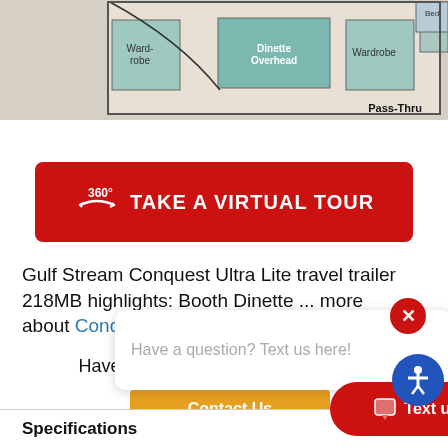[Figure (schematic): RV floor plan showing Wardrobe, Dinette Overhead, Wardrobe, Oven, and Bed areas with Pass-Thru label]
[Figure (other): Red button with 360 degree icon and text TAKE A VIRTUAL TOUR]
Gulf Stream Conquest Ultra Lite travel trailer 218MB highlights: Booth Dinette ... more about Conquest
[Figure (other): Chat popup with text 'Have a question? Text us here!' and a red X close button]
Have a question about this floorplan?
[Figure (other): Orange Contact Us button]
[Figure (other): Red Text us button with chat icon]
Specifications